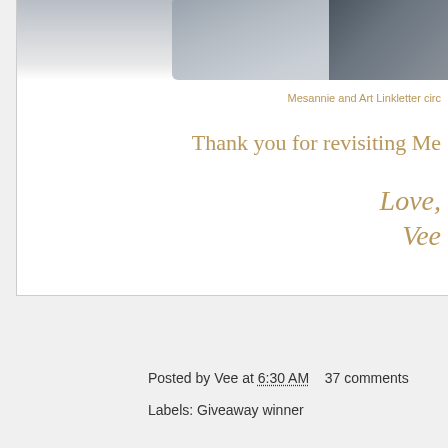[Figure (photo): Black and white photo of two people, partially visible at top of page, cropped showing upper bodies against light background]
Mesannie and Art Linkletter circ
Thank you for revisiting Me
Love,
Vee
Posted by Vee at 6:30 AM    37 comments
Labels: Giveaway winner